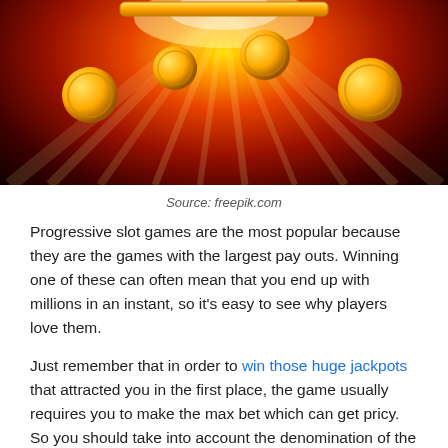[Figure (illustration): Casino-themed illustration with golden coins flying against a dark red background with bright golden light rays emanating from the center]
Source: freepik.com
Progressive slot games are the most popular because they are the games with the largest pay outs. Winning one of these can often mean that you end up with millions in an instant, so it’s easy to see why players love them.
Just remember that in order to win those huge jackpots that attracted you in the first place, the game usually requires you to make the max bet which can get pricy. So you should take into account the denomination of the game and whether this is feasible for you before you select the game to play.